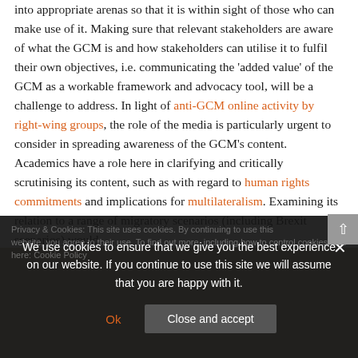into appropriate arenas so that it is within sight of those who can make use of it. Making sure that relevant stakeholders are aware of what the GCM is and how stakeholders can utilise it to fulfil their own objectives, i.e. communicating the 'added value' of the GCM as a workable framework and advocacy tool, will be a challenge to address. In light of anti-GCM online activity by right-wing groups, the role of the media is particularly urgent to consider in spreading awareness of the GCM's content. Academics have a role here in clarifying and critically scrutinising its content, such as with regard to human rights commitments and implications for multilateralism. Examining its relation to a range of migratory scenarios (including Brexit scenarios) would
Privacy & Cookies: This site uses cookies. By continuing to use this website, you agree to their use. To find out more, including how to control cookies, see here: Cookie Policy
We use cookies to ensure that we give you the best experience on our website. If you continue to use this site we will assume that you are happy with it.